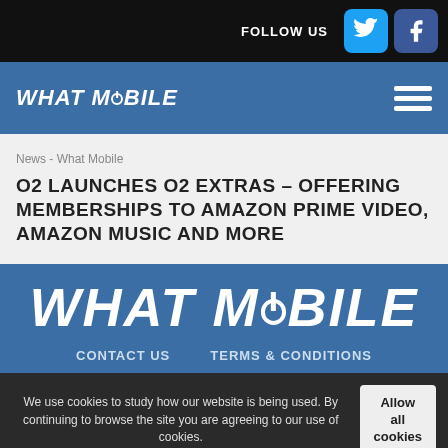FOLLOW US
WHAT MOBILE
News - What Mobile
O2 LAUNCHES O2 EXTRAS – OFFERING MEMBERSHIPS TO AMAZON PRIME VIDEO, AMAZON MUSIC AND MORE
[Figure (logo): WHAT MOBILE large logo in white on blue background]
CONTACT US    TERMS & CONDITIONS
We use cookies to study how our website is being used. By continuing to browse the site you are agreeing to our use of cookies.
Copyright © What Mobile 2020. All rights reserved.